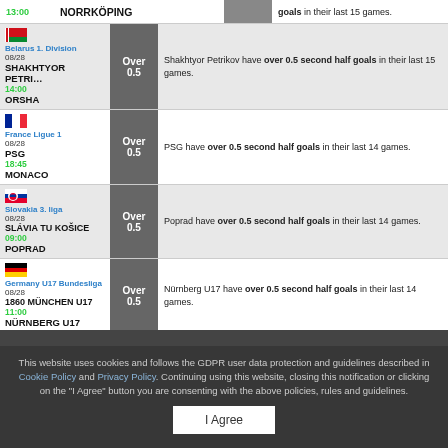13:00 NORRKÖPING — goals in their last 15 games.
Belarus 1. Division | 08/28 SHAKHTYOR PETRI… 14:00 ORSHA | Over 0.5 | Shakhtyor Petrikov have over 0.5 second half goals in their last 15 games.
France Ligue 1 | 08/28 PSG 18:45 MONACO | Over 0.5 | PSG have over 0.5 second half goals in their last 14 games.
Slovakia 3. liga | 08/28 SLÁVIA TU KOŠICE 09:00 POPRAD | Over 0.5 | Poprad have over 0.5 second half goals in their last 14 games.
Germany U17 Bundesliga | 08/28 1860 MÜNCHEN U17 11:00 NÜRNBERG U17 | Over 0.5 | Nürnberg U17 have over 0.5 second half goals in their last 14 games.
This website uses cookies and follows the GDPR user data protection and guidelines described in Cookie Policy and Privacy Policy. Continuing using this website, closing this notification or clicking on the "I Agree" button you are consenting with the above policies, rules and guidelines.